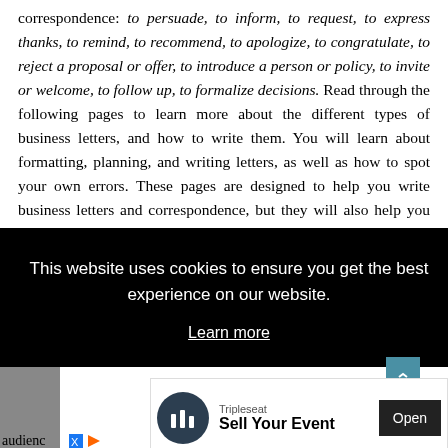correspondence: to persuade, to inform, to request, to express thanks, to remind, to recommend, to apologize, to congratulate, to reject a proposal or offer, to introduce a person or policy, to invite or welcome, to follow up, to formalize decisions. Read through the following pages to learn more about the different types of business letters, and how to write them. You will learn about formatting, planning, and writing letters, as well as how to spot your own errors. These pages are designed to help you write business letters and correspondence, but they will also help you learn to read, and therefore respond to, the letters you receive. You will also find samples that you can use and alter for your own needs.
[Figure (screenshot): Cookie consent overlay banner on a dark background reading 'This website uses cookies to ensure you get the best experience on our website.' with a 'Learn more' link.]
[Figure (screenshot): Advertisement banner for Tripleseat 'Sell Your Event' with an Open button.]